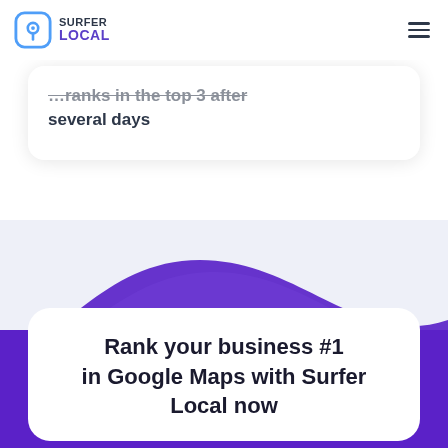Surfer Local
...ranks in the top 3 after several days
[Figure (illustration): Decorative wave shape in purple/lavender gradient transitioning into a solid purple background section]
Rank your business #1 in Google Maps with Surfer Local now